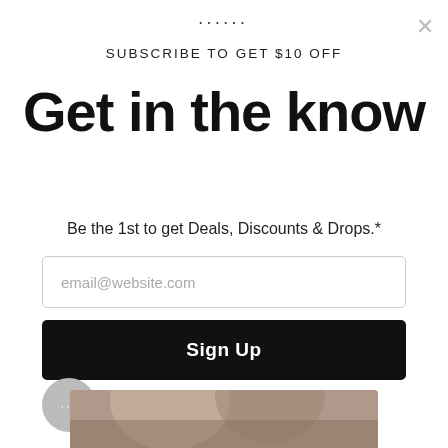UNDER
SUBSCRIBE TO GET $10 OFF
Get in the know
Be the 1st to get Deals, Discounts & Drops.*
email@website.com
Sign Up
No Thanks
*By submitting this form, you agree to receive recurring automated promotional and personalized marketing text messages (e.g. cart reminders) from Under 510 at the mobile number provided when signing up. Consent is not a condition of any purchase. Reply HELP for help and STOP to cancel. Msg frequency varies. Msg & data rates may apply.
[Figure (photo): Cropped photo of a person at the bottom of the modal]